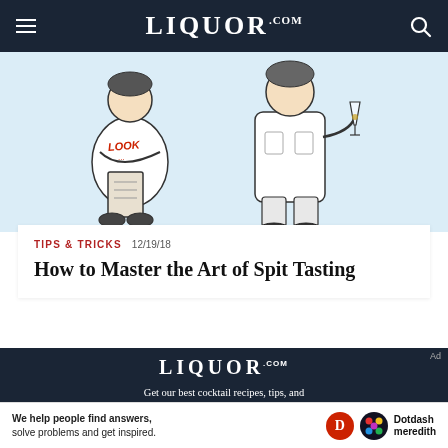LIQUOR .COM
[Figure (illustration): Line art illustration showing two figures in white jackets: one seated taking notes, one standing holding a drink glass]
TIPS & TRICKS  12/19/18
How to Master the Art of Spit Tasting
[Figure (logo): Liquor.com logo in white on dark navy background]
Get our best cocktail recipes, tips, and more when you sign up for our
[Figure (other): Dotdash Meredith advertisement banner: 'We help people find answers, solve problems and get inspired.' with D circle logo and colorful dots logo]